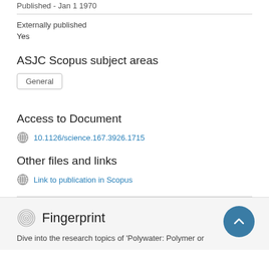Published - Jan 1 1970
Externally published
Yes
ASJC Scopus subject areas
General
Access to Document
10.1126/science.167.3926.1715
Other files and links
Link to publication in Scopus
Fingerprint
Dive into the research topics of 'Polywater: Polymer or